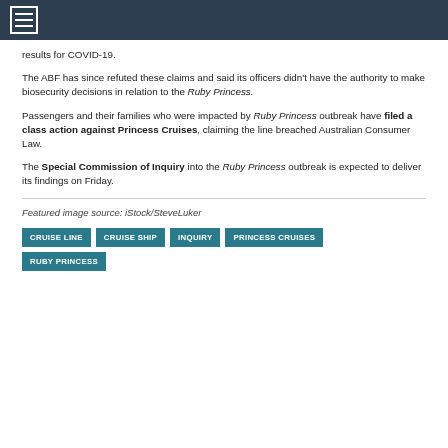results for COVID-19.
The ABF has since refuted these claims and said its officers didn't have the authority to make biosecurity decisions in relation to the Ruby Princess.
Passengers and their families who were impacted by Ruby Princess outbreak have filed a class action against Princess Cruises, claiming the line breached Australian Consumer Law.
The Special Commission of Inquiry into the Ruby Princess outbreak is expected to deliver its findings on Friday.
Featured image source: iStock/SteveLuker
CRUISE LINE
CRUISE SHIP
INQUIRY
PRINCESS CRUISES
RUBY PRINCESS